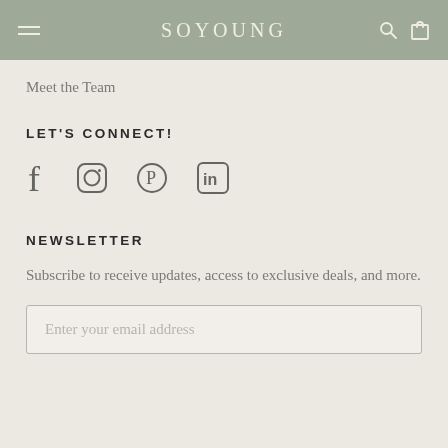SoYoung
Meet the Team
LET'S CONNECT!
[Figure (illustration): Social media icons: Facebook, Instagram, Pinterest, LinkedIn]
NEWSLETTER
Subscribe to receive updates, access to exclusive deals, and more.
Enter your email address